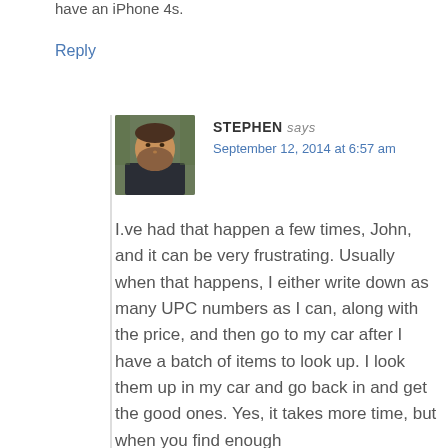have an iPhone 4s.
Reply
STEPHEN says
September 12, 2014 at 6:57 am
[Figure (photo): Avatar photo of Stephen, a man with a beard wearing a dark jacket, photographed outdoors]
I.ve had that happen a few times, John, and it can be very frustrating. Usually when that happens, I either write down as many UPC numbers as I can, along with the price, and then go to my car after I have a batch of items to look up. I look them up in my car and go back in and get the good ones. Yes, it takes more time, but when you find enough